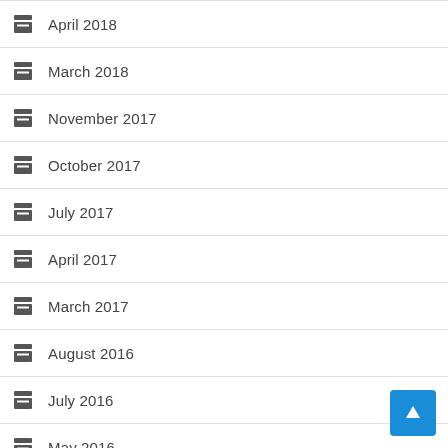April 2018
March 2018
November 2017
October 2017
July 2017
April 2017
March 2017
August 2016
July 2016
May 2016
January 2016
November 2015
August 2015